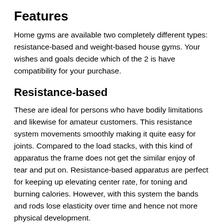Features
Home gyms are available two completely different types: resistance-based and weight-based house gyms. Your wishes and goals decide which of the 2 is have compatibility for your purchase.
Resistance-based
These are ideal for persons who have bodily limitations and likewise for amateur customers. This resistance system movements smoothly making it quite easy for joints. Compared to the load stacks, with this kind of apparatus the frame does not get the similar enjoy of tear and put on. Resistance-based apparatus are perfect for keeping up elevating center rate, for toning and burning calories. However, with this system the bands and rods lose elasticity over time and hence not more physical development.